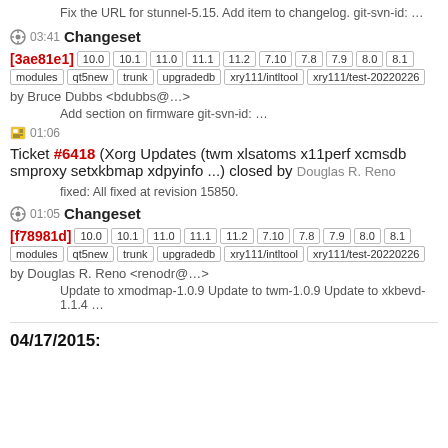Fix the URL for stunnel-5.15. Add item to changelog. git-svn-id: …
03:41 Changeset
[3ae81e1] 10.0 10.1 11.0 11.1 11.2 7.10 7.8 7.9 8.0 8.1 modules qt5new trunk upgradedb xry111/intltool xry111/test-20220226 by Bruce Dubbs <bdubbs@…>
Add section on firmware git-svn-id: …
01:06 Ticket #6418 (Xorg Updates (twm xlsatoms x11perf xcmsdb smproxy setxkbmap xdpyinfo ...) closed by Douglas R. Reno
fixed: All fixed at revision 15850.
01:05 Changeset
[f78981d] 10.0 10.1 11.0 11.1 11.2 7.10 7.8 7.9 8.0 8.1 modules qt5new trunk upgradedb xry111/intltool xry111/test-20220226 by Douglas R. Reno <renodr@…>
Update to xmodmap-1.0.9 Update to twm-1.0.9 Update to xkbevd-1.1.4 …
04/17/2015: